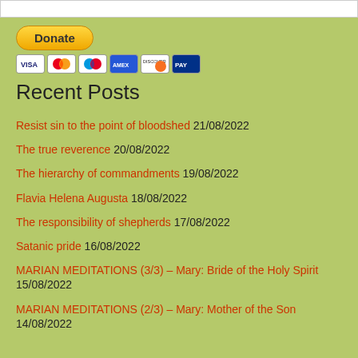[Figure (other): White bar at top of page, partial header area]
[Figure (other): Donate button (yellow rounded rectangle with bold text 'Donate') and payment card icons (VISA, Mastercard, American Express, Discover, and others)]
Recent Posts
Resist sin to the point of bloodshed 21/08/2022
The true reverence 20/08/2022
The hierarchy of commandments 19/08/2022
Flavia Helena Augusta 18/08/2022
The responsibility of shepherds 17/08/2022
Satanic pride 16/08/2022
MARIAN MEDITATIONS (3/3) – Mary: Bride of the Holy Spirit 15/08/2022
MARIAN MEDITATIONS (2/3) – Mary: Mother of the Son 14/08/2022